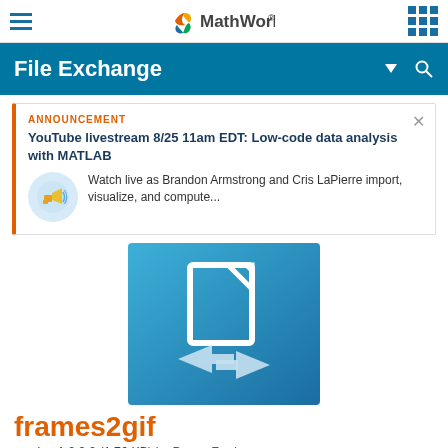MathWorks File Exchange
File Exchange
ANNOUNCEMENT
YouTube livestream 8/25 11am EDT: Low-code data analysis with MATLAB
Watch live as Brandon Armstrong and Cris LaPierre import, visualize, and compute...
[Figure (logo): MathWorks File Exchange package icon — blue gradient square with white document and double arrows]
frames2gif
version 1.0.0.0 (1.76 KB) by Paxon Frady
Converts frames captured by getframes to an animated gif.
(0)